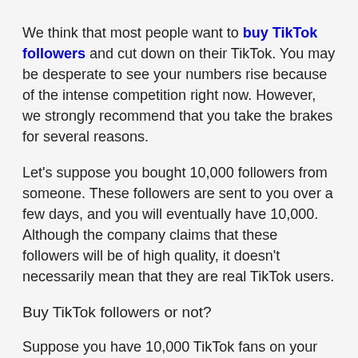We think that most people want to buy TikTok followers and cut down on their TikTok. You may be desperate to see your numbers rise because of the intense competition right now. However, we strongly recommend that you take the brakes for several reasons.
Let's suppose you bought 10,000 followers from someone. These followers are sent to you over a few days, and you will eventually have 10,000. Although the company claims that these followers will be of high quality, it doesn't necessarily mean that they are real TikTok users.
Buy TikTok followers or not?
Suppose you have 10,000 TikTok fans on your profile. What next?
You can't buy TikTok followers if they aren't real. This will ruin your engagement rate.